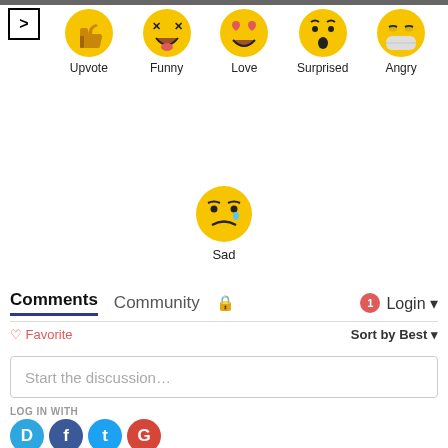[Figure (screenshot): Top navigation arrow button (>)]
[Figure (infographic): Row of emoji reaction icons: thumbs up (Upvote), laughing face with tongue (Funny), heart-eyes (Love), surprised face (Surprised), sick/angry face (Angry)]
Upvote
Funny
Love
Surprised
Angry
[Figure (infographic): Sad emoji face with tear drop]
Sad
Comments
Community
Login
♡ Favorite
Sort by Best ▾
Start the discussion...
LOG IN WITH
[Figure (infographic): Social login icons: Disqus (D), Facebook (F), Twitter (T), Google (G)]
OR SIGN UP WITH DISQUS
Name